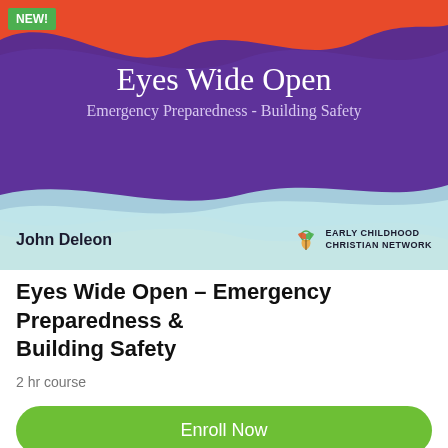[Figure (illustration): Course banner image with wavy background layers in orange, purple, and light teal. Shows 'Eyes Wide Open Emergency Preparedness - Building Safety' text, author name John Deleon, and Early Childhood Christian Network logo. Green NEW! badge in top left corner.]
Eyes Wide Open – Emergency Preparedness & Building Safety
2 hr course
Enroll Now